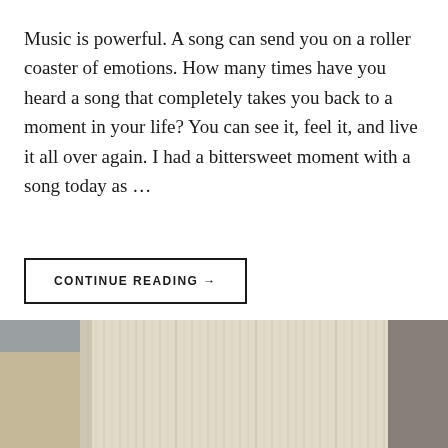Music is powerful. A song can send you on a roller coaster of emotions. How many times have you heard a song that completely takes you back to a moment in your life? You can see it, feel it, and live it all over again. I had a bittersweet moment with a song today as …
CONTINUE READING →
[Figure (photo): Bottom portion of a photo showing what appears to be a rope or bundle of fibers/yarn in cream/white color against a ceiling and wall background in beige and grey tones.]